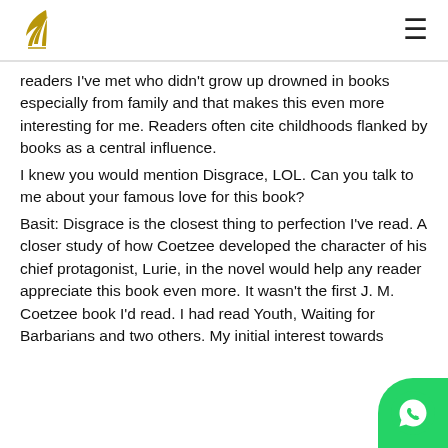[logo: quill pen icon] [hamburger menu]
readers I've met who didn't grow up drowned in books especially from family and that makes this even more interesting for me. Readers often cite childhoods flanked by books as a central influence.
I knew you would mention Disgrace, LOL. Can you talk to me about your famous love for this book?
Basit: Disgrace is the closest thing to perfection I've read. A closer study of how Coetzee developed the character of his chief protagonist, Lurie, in the novel would help any reader appreciate this book even more. It wasn't the first J. M. Coetzee book I'd read. I had read Youth, Waiting for Barbarians and two others. My initial interest towards